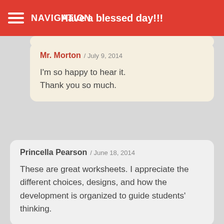NAVIGATION / Have a blessed day!!!
Mr. Morton / July 9, 2014
I'm so happy to hear it.
Thank you so much.
Princella Pearson / June 18, 2014
These are great worksheets. I appreciate the different choices, designs, and how the development is organized to guide students' thinking.